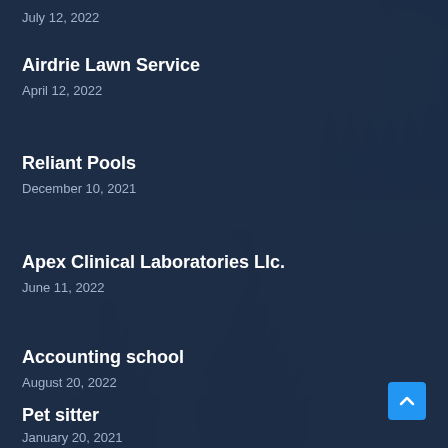July 12, 2022
Airdrie Lawn Service
April 12, 2022
Reliant Pools
December 10, 2021
Apex Clinical Laboratories Llc.
June 11, 2022
Accounting school
August 20, 2022
Pet sitter
January 20, 2021